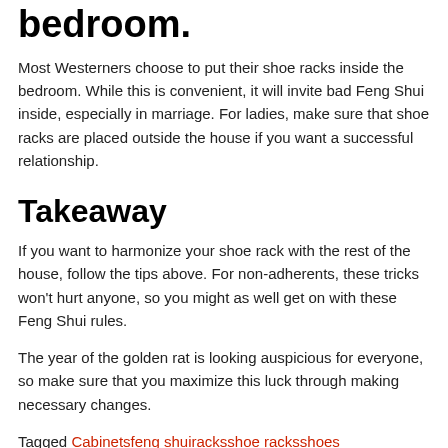bedroom.
Most Westerners choose to put their shoe racks inside the bedroom. While this is convenient, it will invite bad Feng Shui inside, especially in marriage. For ladies, make sure that shoe racks are placed outside the house if you want a successful relationship.
Takeaway
If you want to harmonize your shoe rack with the rest of the house, follow the tips above. For non-adherents, these tricks won't hurt anyone, so you might as well get on with these Feng Shui rules.
The year of the golden rat is looking auspicious for everyone, so make sure that you maximize this luck through making necessary changes.
Tagged Cabinetsfeng shuiracksshoe racksshoes